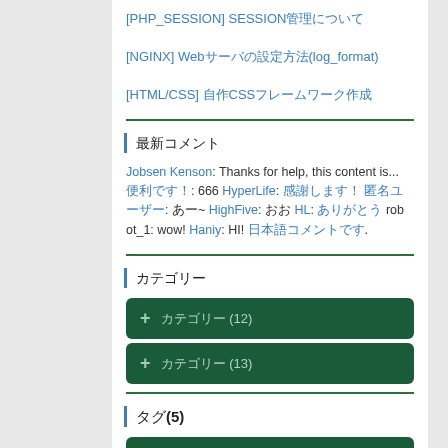[PHP_SESSION] SESSION管理について
[NGINX] Webサーバの設定方法(log_format)
[HTML/CSS] 自作CSSフレームワーク作成
最新コメント
Jobsen Kenson: Thanks for help, this content is... 便利です！: 666 HyperLife: 感謝します！ 匿名ユーザー: あー~ HighFive: おお HL: ありがとう robot_1: wow! Haniy: HI! 日本語コメントです。
カテゴリー
+ カテゴリー (12)
+ カテゴリー (13)
タグ(5)
Berd's Playground